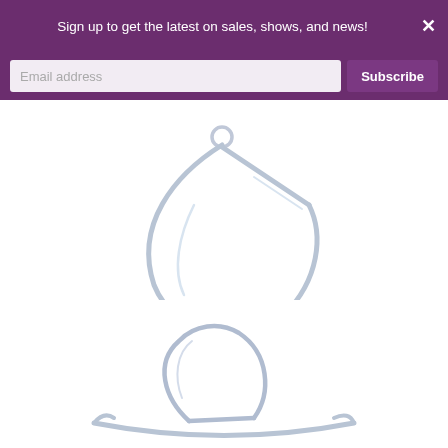Sign up to get the latest on sales, shows, and news!
Email address
Subscribe
[Figure (photo): Silver teardrop-shaped wire pendant necklace on white background, showing a geometric open teardrop form with a small loop at the top]
Teardrop
Sold Out! - $95.00
[Figure (photo): Silver teardrop ring on white background, featuring a slim band with an open teardrop shape element on top]